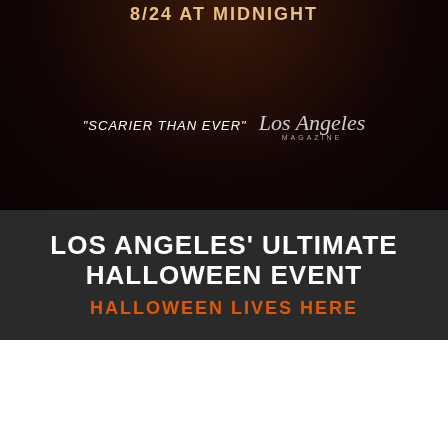8/24 AT MIDNIGHT
"SCARIER THAN EVER" Los Angeles Magazine
LOS ANGELES' ULTIMATE HALLOWEEN EVENT
HALLOWEEN LIVES HERE
[Figure (screenshot): YouTube video player thumbnail showing '2021 Teaser: Los Angeles Haunted ...' with a pumpkin channel icon and THE HAYRIDE IS BACK text overlay with play button]